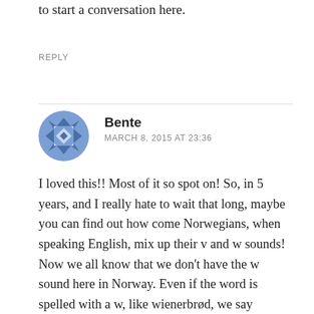to start a conversation here.
REPLY
[Figure (illustration): Blue geometric decorative avatar icon with diamond/star pattern]
Bente
MARCH 8, 2015 AT 23:36
I loved this!! Most of it so spot on! So, in 5 years, and I really hate to wait that long, maybe you can find out how come Norwegians, when speaking English, mix up their v and w sounds! Now we all know that we don't have the w sound here in Norway. Even if the word is spelled with a w, like wienerbrød, we say vienerbrød, right? Well then, why do they take a word like viking and say wiking? Visit becomes wisit and so on. You would think that with the v sound being the only one of